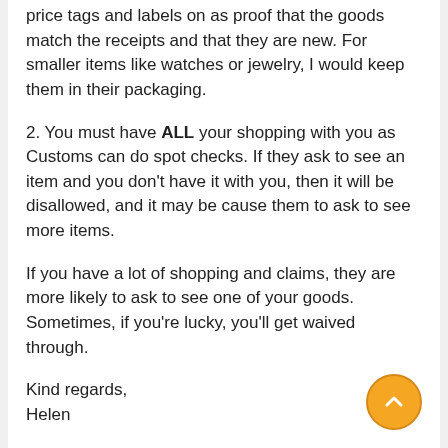price tags and labels on as proof that the goods match the receipts and that they are new. For smaller items like watches or jewelry, I would keep them in their packaging.
2. You must have ALL your shopping with you as Customs can do spot checks. If they ask to see an item and you don't have it with you, then it will be disallowed, and it may be cause them to ask to see more items.
If you have a lot of shopping and claims, they are more likely to ask to see one of your goods. Sometimes, if you're lucky, you'll get waived through.
Kind regards,
Helen